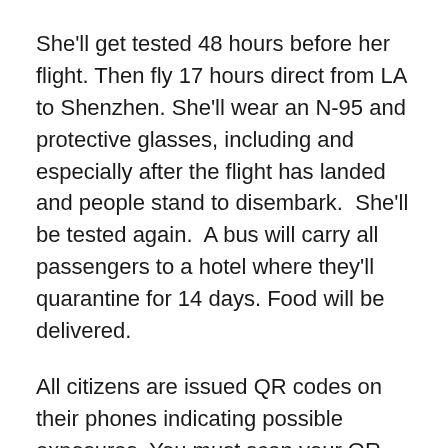She'll get tested 48 hours before her flight. Then fly 17 hours direct from LA to Shenzhen. She'll wear an N-95 and protective glasses, including and especially after the flight has landed and people stand to disembark.  She'll be tested again.  A bus will carry all passengers to a hotel where they'll quarantine for 14 days. Food will be delivered.
All citizens are issued QR codes on their phones indicating possible exposures. You must scan your QR before entering a building, public space or riding on public transport. Those who have tested positive are not allowed to do so.
If a positive case is detected in China, public health officers do contact tracing and may shut down an entire